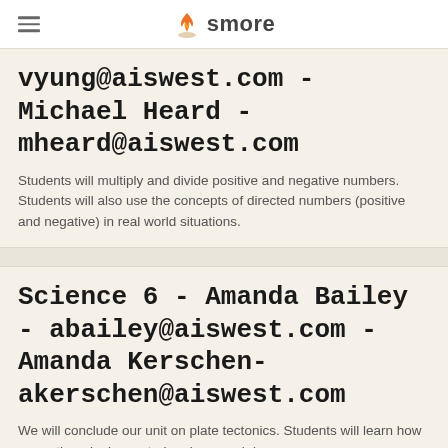smore
vyung@aiswest.com - Michael Heard - mheard@aiswest.com
Students will multiply and divide positive and negative numbers. Students will also use the concepts of directed numbers (positive and negative) in real world situations.
Science 6 - Amanda Bailey - abailey@aiswest.com - Amanda Kerschen- akerschen@aiswest.com
We will conclude our unit on plate tectonics. Students will learn how an earthquake is created and research large